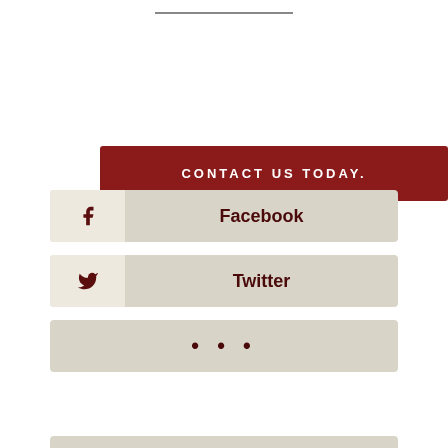CONTACT US TODAY.
Facebook
Twitter
...